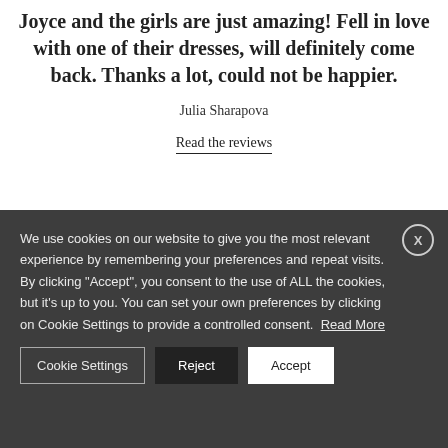Joyce and the girls are just amazing! Fell in love with one of their dresses, will definitely come back. Thanks a lot, could not be happier.
Julia Sharapova
Read the reviews
We use cookies on our website to give you the most relevant experience by remembering your preferences and repeat visits. By clicking "Accept", you consent to the use of ALL the cookies, but it's up to you. You can set your own preferences by clicking on Cookie Settings to provide a controlled consent. Read More